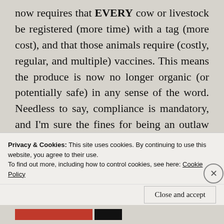now requires that EVERY cow or livestock be registered (more time) with a tag (more cost), and that those animals require (costly, regular, and multiple) vaccines. This means the produce is now no longer organic (or potentially safe) in any sense of the word. Needless to say, compliance is mandatory, and I'm sure the fines for being an outlaw are significant. 🙁
I am not even going to touch on Correa's
Privacy & Cookies: This site uses cookies. By continuing to use this website, you agree to their use.
To find out more, including how to control cookies, see here: Cookie Policy